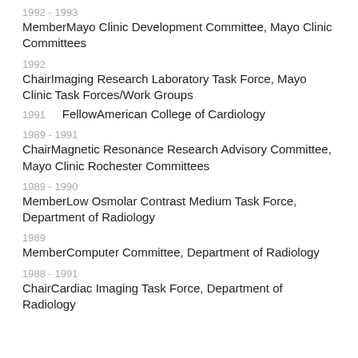1992 - 1993
MemberMayo Clinic Development Committee, Mayo Clinic Committees
1992
ChairImaging Research Laboratory Task Force, Mayo Clinic Task Forces/Work Groups
1991    FellowAmerican College of Cardiology
1989 - 1991
ChairMagnetic Resonance Research Advisory Committee, Mayo Clinic Rochester Committees
1989 - 1990
MemberLow Osmolar Contrast Medium Task Force, Department of Radiology
1989
MemberComputer Committee, Department of Radiology
1988 - 1991
ChairCardiac Imaging Task Force, Department of Radiology